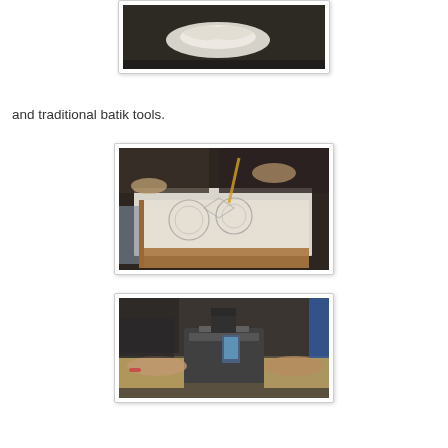[Figure (photo): Partial view of a batik pattern on fabric or paper, dark background, top portion cropped]
and traditional batik tools.
[Figure (photo): People working on batik fabric stretched over a cardboard box, applying wax patterns with tools in a workshop or classroom setting]
[Figure (photo): People working with batik tools at a table, using what appears to be a printing or pressing machine for batik fabric]